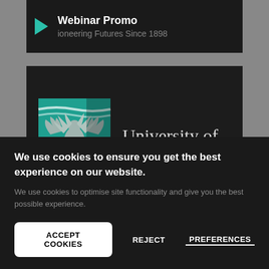[Figure (screenshot): Video thumbnail bar with play button and 'Webinar Promo' title, subtitle 'Pioneering Futures Since 1898' partially visible on dark background]
[Figure (logo): University of East London logo: teal shield with phoenix/eagle emblem and text 'University of East London' in white on dark background]
We use cookies to ensure you get the best experience on our website.
We use cookies to optimise site functionality and give you the best possible experience.
ACCEPT COOKIES
REJECT
PREFERENCES